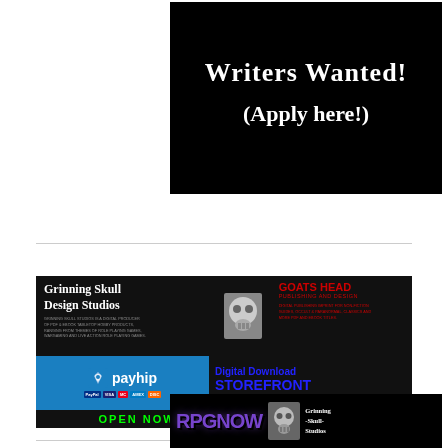[Figure (illustration): Black banner advertisement: 'Writers Wanted! (Apply here!)' in white decorative gothic/serif font on black background]
[Figure (illustration): Grinning Skull Design Studios and Goats Head Publishing and Design advertisement banner with payhip storefront. Black background. Left: white gothic text 'Grinning Skull Design Studios' with small grey descriptive text. Center: decorative skull image. Right: Red 'GOATS HEAD PUBLISHING AND DESIGN' logo and red descriptive text. Middle: Payhip blue logo with payment cards on left, blue 'Digital Download STOREFRONT Get Your Products direct from us!' on right. Bottom: Green text 'OPEN NOW! 24/7! OPEN NOW! 24/7!']
[Figure (illustration): RPGNow and Grinning Skull Studios advertisement banner on black background with purple stylized 'RPGNOW' text and skull logo next to 'Grinning -Skull- Studios' text]